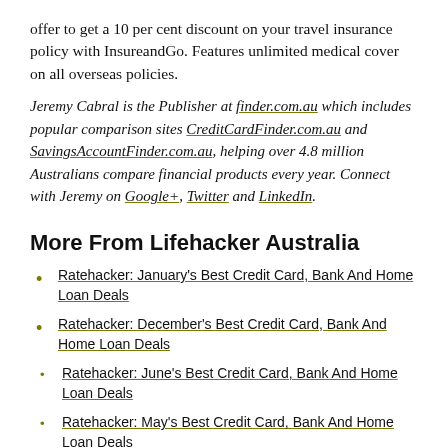offer to get a 10 per cent discount on your travel insurance policy with InsureandGo. Features unlimited medical cover on all overseas policies.
Jeremy Cabral is the Publisher at finder.com.au which includes popular comparison sites CreditCardFinder.com.au and SavingsAccountFinder.com.au, helping over 4.8 million Australians compare financial products every year. Connect with Jeremy on Google+, Twitter and LinkedIn.
More From Lifehacker Australia
Ratehacker: January's Best Credit Card, Bank And Home Loan Deals
Ratehacker: December's Best Credit Card, Bank And Home Loan Deals
Ratehacker: June's Best Credit Card, Bank And Home Loan Deals
Ratehacker: May's Best Credit Card, Bank And Home Loan Deals